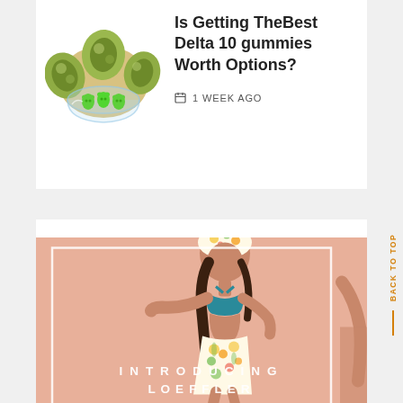[Figure (photo): Green gummy bears in a glass bowl surrounded by cannabis nugs on white background]
Is Getting TheBest Delta 10 gummies Worth Options?
1 WEEK AGO
[Figure (photo): Fashion advertisement image with peach/salmon background showing a woman in teal bikini top and floral skirt with headwrap. White border frame overlay with text 'INTRODUCING LOEFFLER RANDALL']
BACK TO TOP